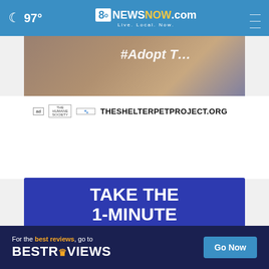97° 8NewsNow.com Live. Local. Now.
[Figure (photo): Partial view of a shelter pet project advertisement with hashtag overlay]
THESHELTERPETPROJECT.ORG
[Figure (infographic): Blue background ad: TAKE THE 1-MINUTE RISK TEST TODAY. DolHavePrediabetes.org]
[Figure (infographic): BestReviews banner ad: For the best reviews, go to BESTREVIEWS - Go Now button]